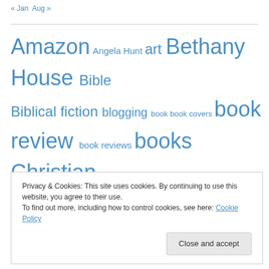« Jan  Aug »
Amazon Angela Hunt art Bethany House Bible Biblical fiction blogging book book covers book review book reviews books Christian christian fantasy Christian fiction Connilyn Cossette cosmic createspace Crown of Ravens demons Deviant Art e-
Privacy & Cookies: This site uses cookies. By continuing to use this website, you agree to their use.
To find out more, including how to control cookies, see here: Cookie Policy
Close and accept